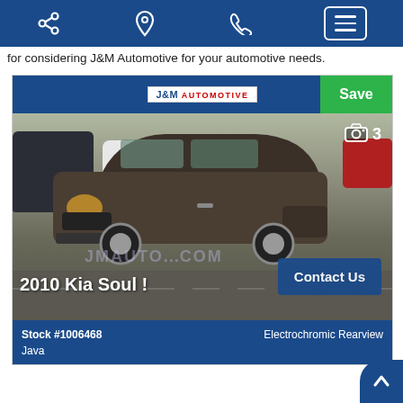[Figure (screenshot): Navigation bar with share, location, phone, and menu icons on dark blue background]
for considering J&M Automotive for your automotive needs.
[Figure (photo): Automotive dealership listing card for a 2010 Kia Soul ! showing the vehicle photo, J&M Automotive logo, Save button, Contact Us button, stock number 1006468, color Java, and Electrochromic Rearview feature]
2010 Kia Soul !
Stock #1006468
Java
Electrochromic Rearview